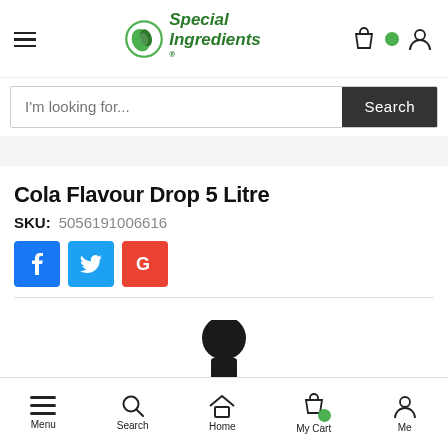Special Ingredients
I'm looking for... Search
Cola Flavour Drop 5 Litre
SKU: 5056191006616
[Figure (screenshot): Social share buttons: Facebook (blue), Twitter (blue), Google (red)]
[Figure (photo): Top of a black dropper bottle for Cola Flavour Drop 5 Litre product]
Menu  Search  Home  My Cart  Me